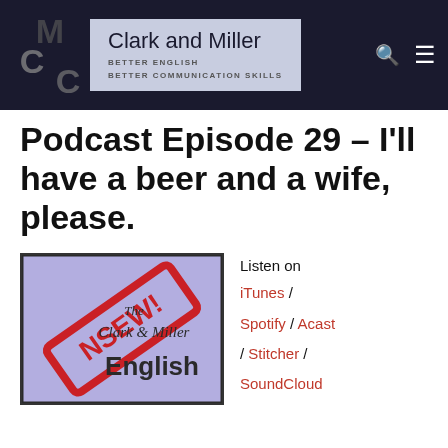[Figure (logo): Clark and Miller website header with CMC logo on dark navy background, search and menu icons]
Podcast Episode 29 – I'll have a beer and a wife, please.
[Figure (illustration): Clark & Miller English podcast episode thumbnail with purple/lavender background and red NSFW stamp diagonal across it, showing 'The Clark & Miller English' text]
Listen on iTunes / Spotify / Acast / Stitcher / SoundCloud